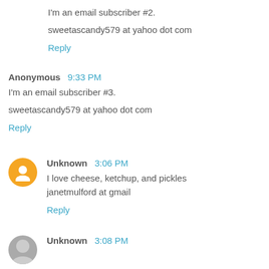I'm an email subscriber #2.
sweetascandy579 at yahoo dot com
Reply
Anonymous  9:33 PM
I'm an email subscriber #3.
sweetascandy579 at yahoo dot com
Reply
Unknown  3:06 PM
I love cheese, ketchup, and pickles
janetmulford at gmail
Reply
Unknown  3:08 PM